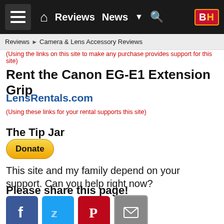Reviews | News | B&H
Reviews ► Camera & Lens Accessory Reviews
(Using the links on this site to make any purchase provides support for this site)
Rent the Canon EG-E1 Extension Grip
LensRentals.com
(Using these links for your rental supports this site)
The Tip Jar
Donate  This site and my family depend on your support. Can you help right now?
Please share this page!
[Figure (illustration): Social sharing icons: Facebook, Twitter, Pinterest, Email]